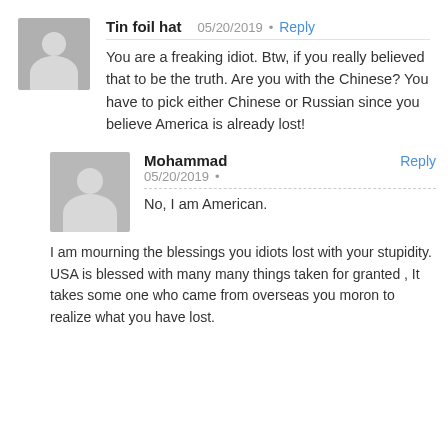Tin foil hat 05/20/2019 • Reply
You are a freaking idiot. Btw, if you really believed that to be the truth. Are you with the Chinese? You have to pick either Chinese or Russian since you believe America is already lost!
Mohammad Reply
05/20/2019 •
No, I am American.
I am mourning the blessings you idiots lost with your stupidity.
USA is blessed with many many things taken for granted , It takes some one who came from overseas you moron to realize what you have lost.